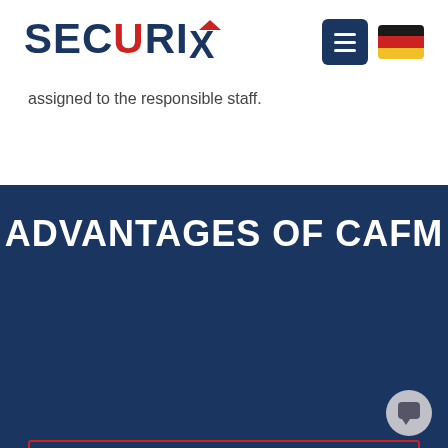[Figure (logo): Securix logo with blue bold text SECURIX, red triangle above the X, hamburger menu button, and German flag]
assigned to the responsible staff.
ADVANTAGES OF CAFM
[Figure (logo): Securix X logo centered in a red-bordered box on dark blue background, with chat button in lower right corner]